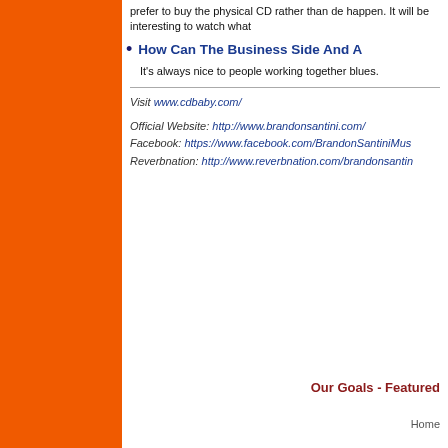prefer to buy the physical CD rather than de happen. It will be interesting to watch what
How Can The Business Side And A
It's always nice to people working together blues.
Visit www.cdbaby.com/
Official Website: http://www.brandonsantini.com/ Facebook: https://www.facebook.com/BrandonSantiniMus... Reverbnation: http://www.reverbnation.com/brandonsantin...
Our Goals - Featured
Home